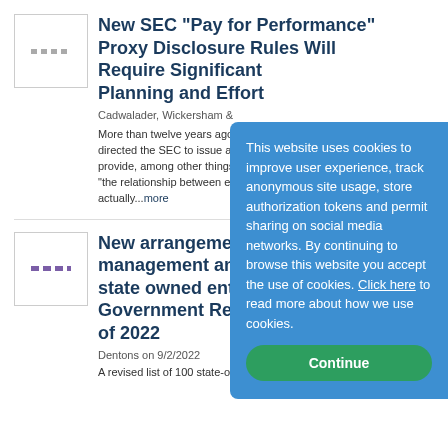[Figure (other): Small thumbnail image placeholder with dotted lines]
New SEC "Pay for Performance" Proxy Disclosure Rules Will Require Significant Planning and Effort
Cadwalader, Wickersham &
More than twelve years ago, directed the SEC to issue a rule provide, among other things, "the relationship between ex actually...more
[Figure (other): Small thumbnail image placeholder with purple dotted lines]
New arrangements for the management and oversight of state owned enterprises in Government Report 2022 of 2022
Dentons on 9/2/2022
A revised list of 100 state-owned enterprises and a new
This website uses cookies to improve user experience, track anonymous site usage, store authorization tokens and permit sharing on social media networks. By continuing to browse this website you accept the use of cookies. Click here to read more about how we use cookies.
Continue